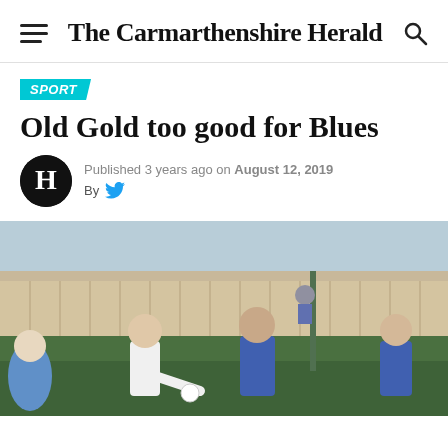The Carmarthenshire Herald
SPORT
Old Gold too good for Blues
Published 3 years ago on August 12, 2019
By
[Figure (photo): Football match action photo showing players in blue-and-white striped kits on a grass pitch, with one player kicking the ball. Background shows wooden fencing and a sports facility.]